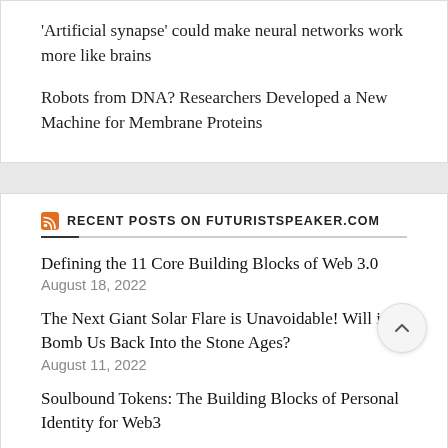'Artificial synapse' could make neural networks work more like brains
Robots from DNA? Researchers Developed a New Machine for Membrane Proteins
RECENT POSTS ON FUTURISTSPEAKER.COM
Defining the 11 Core Building Blocks of Web 3.0
August 18, 2022
The Next Giant Solar Flare is Unavoidable! Will it Bomb Us Back Into the Stone Ages?
August 11, 2022
Soulbound Tokens: The Building Blocks of Personal Identity for Web3